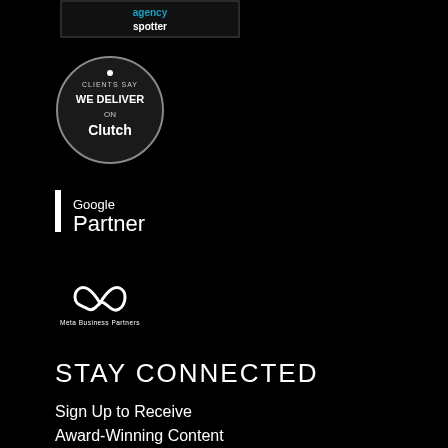[Figure (logo): Agency Spotter badge/logo — black background with 'agencyspotter' text in white and teal]
[Figure (logo): Clutch circular badge with text 'CLIENTS SAY WE DELIVER ON Clutch' in dark circle with light border]
[Figure (logo): Google Premier Partner logo — vertical bar on left with 'PREMIER' text, then 'Google Partner' text]
[Figure (logo): Meta Business Partners logo — infinity symbol with 'Meta Business Partners' text below]
STAY CONNECTED
Sign Up to Receive Award-Winning Content
Email*
Your Email